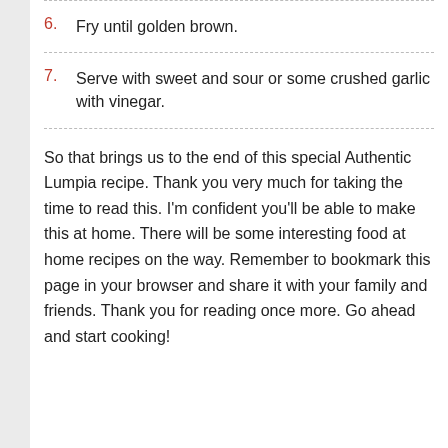6. Fry until golden brown.
7. Serve with sweet and sour or some crushed garlic with vinegar.
So that brings us to the end of this special Authentic Lumpia recipe. Thank you very much for taking the time to read this. I'm confident you'll be able to make this at home. There will be some interesting food at home recipes on the way. Remember to bookmark this page in your browser and share it with your family and friends. Thank you for reading once more. Go ahead and start cooking!